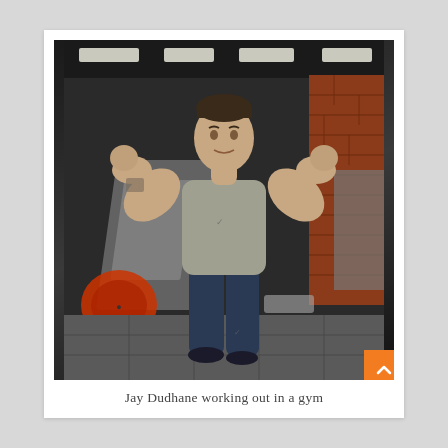[Figure (photo): A muscular man (Jay Dudhane) flexing both arms in a gym, wearing a grey sleeveless Nike shirt and dark navy track pants with a Nike logo. He stands in front of gym equipment including a leg press machine and a barbell with weight plates. The gym has brick walls, dark ceiling with recessed lighting, and grey tiled floors.]
Jay Dudhane working out in a gym